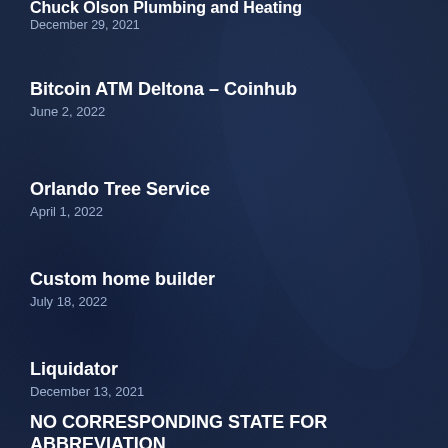Chuck Olson Plumbing and Heating
December 29, 2021
Bitcoin ATM Deltona – Coinhub
June 2, 2022
Orlando Tree Service
April 1, 2022
Custom home builder
July 18, 2022
Liquidator
December 13, 2021
NO CORRESPONDING STATE FOR ABBREVIATION